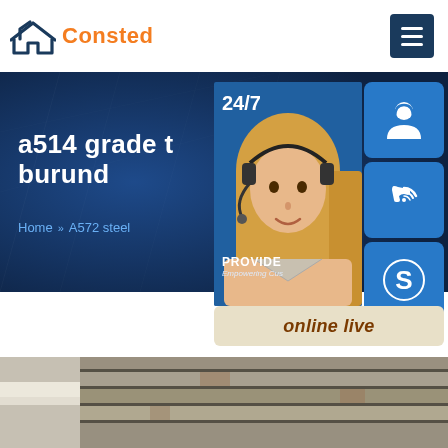[Figure (logo): Consted company logo with house icon in navy blue and orange text]
a514 grade t burund
Home » A572 steel
[Figure (infographic): 24/7 customer service widget with woman wearing headset, phone and Skype icon buttons, PROVIDE Empowering Customers text, online live button]
[Figure (photo): Stack of steel plates/sheets viewed from the side in a warehouse]